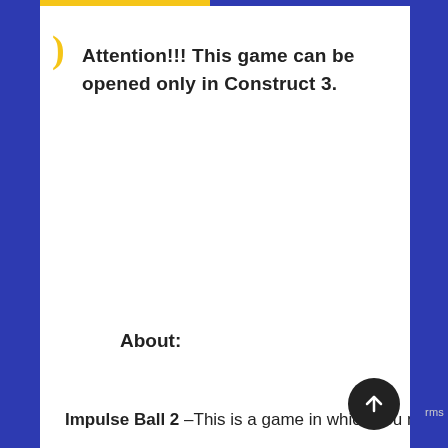Attention!!! This game can be opened only in Construct 3.
About:
Impulse Ball 2 –This is a game in which you need